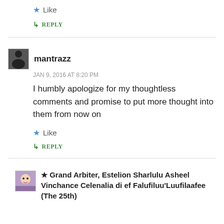Like
REPLY
mantrazz
JAN 9, 2016 AT 8:20 PM
I humbly apologize for my thoughtless comments and promise to put more thought into them from now on
Like
REPLY
★ Grand Arbiter, Estelion Sharlulu Asheel Vinchance Celenalia di ef Falufiluu'Luufilaafee (The 25th)